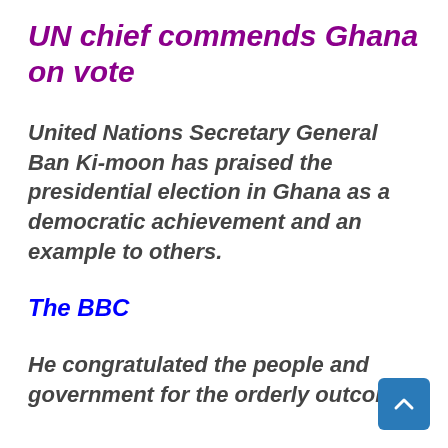UN chief commends Ghana on vote
United Nations Secretary General Ban Ki-moon has praised the presidential election in Ghana as a democratic achievement and an example to others.
The BBC
He congratulated the people and government for the orderly outcome